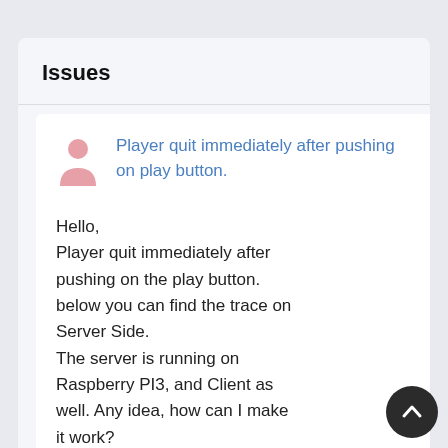Issues
Player quit immediately after pushing on play button.
Hello,
Player quit immediately after pushing on the play button. below you can find the trace on Server Side.
The server is running on Raspberry PI3, and Client as well. Any idea, how can I make it work?
Thank you in advance for your